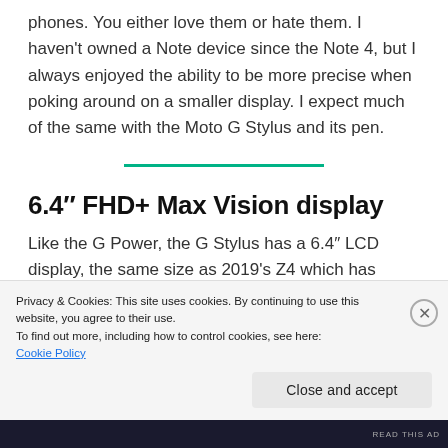phones. You either love them or hate them. I haven't owned a Note device since the Note 4, but I always enjoyed the ability to be more precise when poking around on a smaller display. I expect much of the same with the Moto G Stylus and its pen.
6.4″ FHD+ Max Vision display
Like the G Power, the G Stylus has a 6.4″ LCD display, the same size as 2019's Z4 which has
Privacy & Cookies: This site uses cookies. By continuing to use this website, you agree to their use.
To find out more, including how to control cookies, see here: Cookie Policy
Close and accept